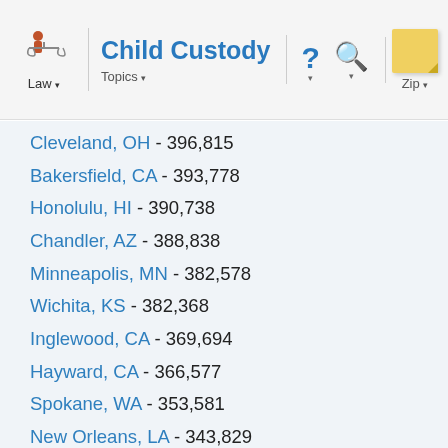Law | Child Custody | Topics | ? | Search | Zip
Cleveland, OH - 396,815
Bakersfield, CA - 393,778
Honolulu, HI - 390,738
Chandler, AZ - 388,838
Minneapolis, MN - 382,578
Wichita, KS - 382,368
Inglewood, CA - 369,694
Hayward, CA - 366,577
Spokane, WA - 353,581
New Orleans, LA - 343,829
Stockton, CA - 343,203
Compton, CA - 342,576
Hialeah, FL - 342,086
Country Club, FL - 342,086
Anaheim, CA - 336,265
Fremont, CA - 325,166